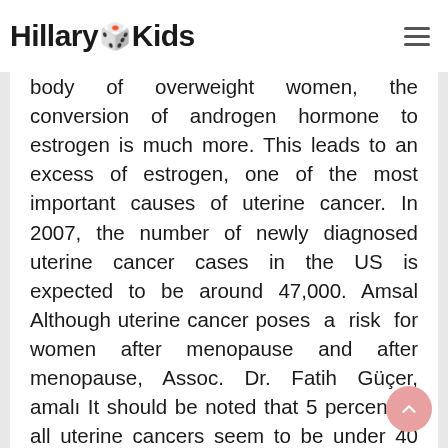Hillary Kids
body of overweight women, the conversion of androgen hormone to estrogen is much more. This leads to an excess of estrogen, one of the most important causes of uterine cancer. In 2007, the number of newly diagnosed uterine cancer cases in the US is expected to be around 47,000. Amsal Although uterine cancer poses a risk for women after menopause and after menopause, Assoc. Dr. Fatih Güçer, amalı It should be noted that 5 percent of all uterine cancers seem to be under 40 years. For this reason, women under the age of 40 should also be careful. The symptom that leads to uterine cancer patients comes to us is that they begin to